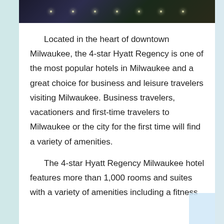[Figure (photo): Dark nighttime city photo strip at the top of the page showing downtown Milwaukee at night with lights]
Located in the heart of downtown Milwaukee, the 4-star Hyatt Regency is one of the most popular hotels in Milwaukee and a great choice for business and leisure travelers visiting Milwaukee. Business travelers, vacationers and first-time travelers to Milwaukee or the city for the first time will find a variety of amenities.
The 4-star Hyatt Regency Milwaukee hotel features more than 1,000 rooms and suites with a variety of amenities including a fitness